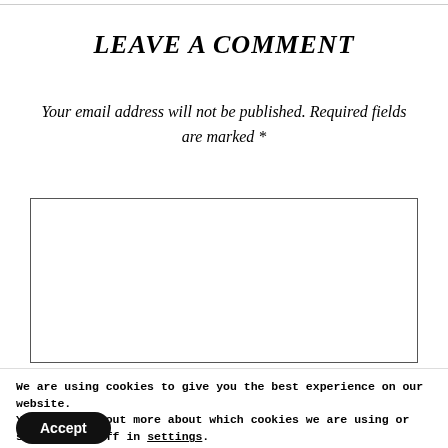LEAVE A COMMENT
Your email address will not be published. Required fields are marked *
COMMENT
We are using cookies to give you the best experience on our website.
You can find out more about which cookies we are using or switch them off in settings.
Accept